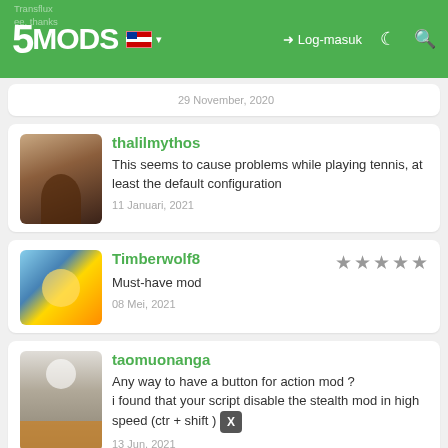5MODS | Log-masuk
29 November, 2020
thalilmythos
This seems to cause problems while playing tennis, at least the default configuration
11 Januari, 2021
Timberwolf8
Must-have mod
08 Mei, 2021
taomuonanga
Any way to have a button for action mod ?
i found that your script disable the stealth mod in high speed (ctr + shift )
13 Jun, 2021